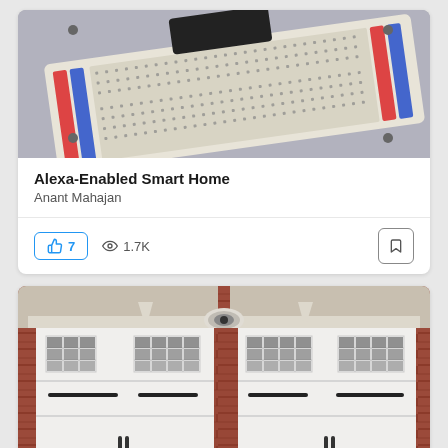[Figure (photo): Close-up photo of a white solderless breadboard on a gray background with a dark component attached at the top]
Alexa-Enabled Smart Home
Anant Mahajan
7 likes, 1.7K views
[Figure (photo): Photo of a brick house exterior with two white garage doors, each with windows at the top, black handles, and a security camera mounted above between the two doors]